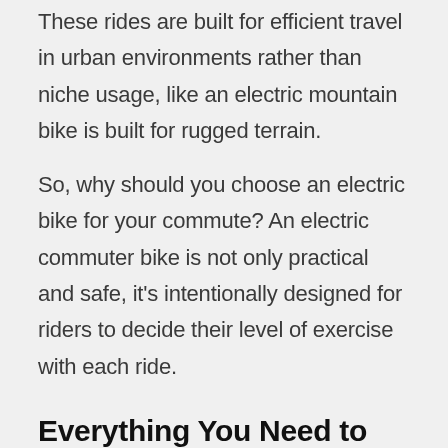These rides are built for efficient travel in urban environments rather than niche usage, like an electric mountain bike is built for rugged terrain.
So, why should you choose an electric bike for your commute? An electric commuter bike is not only practical and safe, it's intentionally designed for riders to decide their level of exercise with each ride.
Everything You Need to Know About the Benefits